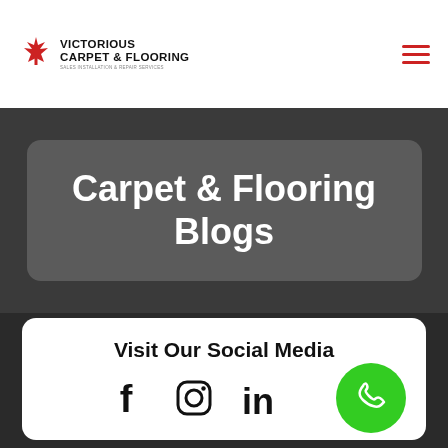[Figure (logo): Victorious Carpet & Flooring logo with Canadian maple leaf icon, company name and tagline]
Carpet & Flooring Blogs
Visit Our Social Media
[Figure (infographic): Social media icons: Facebook, Instagram, LinkedIn, and a green phone call button]